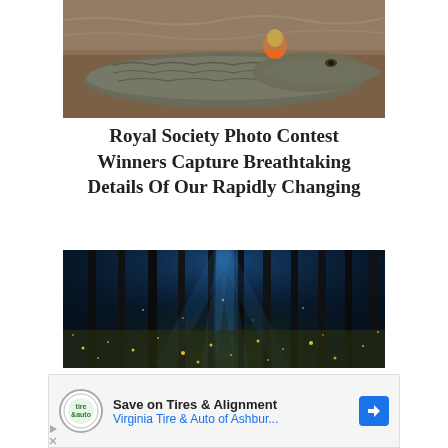[Figure (photo): Close-up photograph of a crocodile or alligator on muddy ground, with a small orange and yellow decorative figure on its head]
Royal Society Photo Contest Winners Capture Breathtaking Details Of Our Rapidly Changing
[Figure (photo): Night forest scene with glowing blue light filtering through tall dark tree trunks, yellow fireflies or sparkling particles covering the forest floor]
Save on Tires & Alignment
Virginia Tire & Auto of Ashbur...